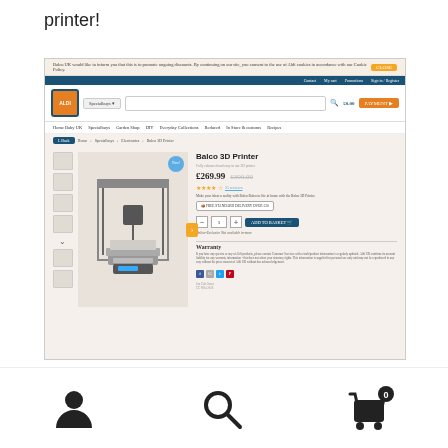printer!
[Figure (screenshot): Aldi UK website product page showing the Balco 3D Printer priced at £269.99 (was £300.00), with 4.5 star reviews, add to basket button, delivery info, warranty section, and social sharing icons.]
I'm used to picking up some groceries from Aldi, however a 3D printer did seem a little extreme for the weekly